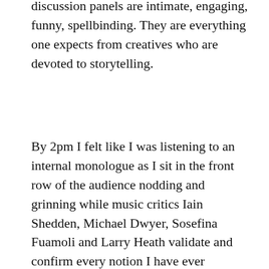discussion panels are intimate, engaging, funny, spellbinding. They are everything one expects from creatives who are devoted to storytelling.
By 2pm I felt like I was listening to an internal monologue as I sit in the front row of the audience nodding and grinning while music critics Iain Shedden, Michael Dwyer, Sosefina Fuamoli and Larry Heath validate and confirm every notion I have ever entertained about music journalism. The reasons we get into it in the first place, the degradation of the art by the plethora of hack bloggers with poor writing skills, the true role of music criticism. “The role of music journalism,” says Rolling Stone’s Dwyer, “is to continue the conversation the